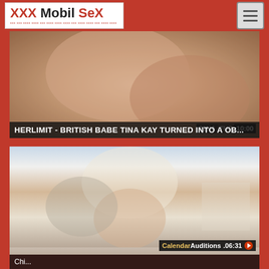XXX Mobil SeX
[Figure (screenshot): Video thumbnail showing skin-toned background, overlaid with source label '21NATUR' and duration '10:00']
HERLIMIT - BRITISH BABE TINA KAY TURNED INTO A OB...
[Figure (screenshot): Video thumbnail showing two women, one blonde and one redhead, overlaid with 'CalendarAuditions.06:31' branding]
Chi...